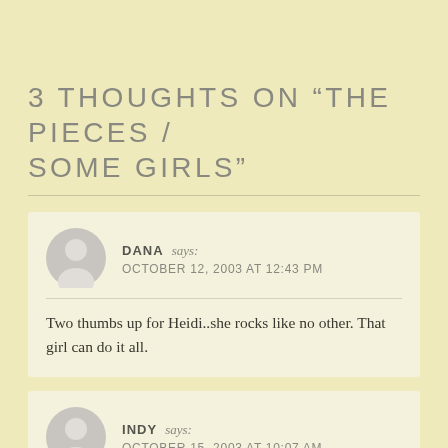3 THOUGHTS ON “THE PIECES / SOME GIRLS”
DANA says: OCTOBER 12, 2003 AT 12:43 PM
Two thumbs up for Heidi..she rocks like no other. That girl can do it all.
INDY says: OCTOBER 15, 2003 AT 10:07 AM